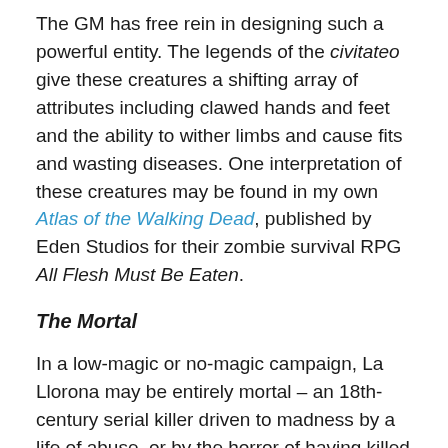The GM has free rein in designing such a powerful entity. The legends of the civitateo give these creatures a shifting array of attributes including clawed hands and feet and the ability to wither limbs and cause fits and wasting diseases. One interpretation of these creatures may be found in my own Atlas of the Walking Dead, published by Eden Studios for their zombie survival RPG All Flesh Must Be Eaten.
The Mortal
In a low-magic or no-magic campaign, La Llorona may be entirely mortal – an 18th-century serial killer driven to madness by a life of abuse, or by the horror of having killed her own children to save them from an abusive father, or starvation, or some other threat. She may even believe that she has become La Llorona of the stories.
Adventures